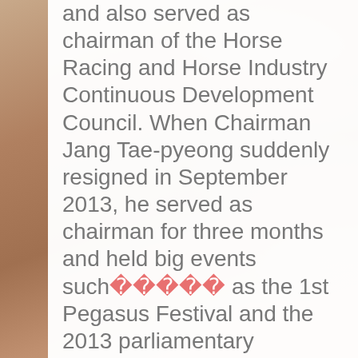and also served as chairman of the Horse Racing and Horse Industry Continuous Development Council. When Chairman Jang Tae-pyeong suddenly resigned in September 2013, he served as chairman for three months and held big events such[Korean chars] as the 1st Pegasus Festival and the 2013 parliamentary audit.Former Vice Chairman of the Korea Racing Authority Kim Young-man, who retired in May 2014, returned as a non-executive director on March 27. The Korea